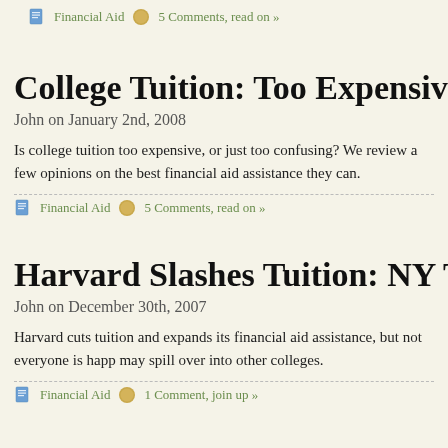Financial Aid   5 Comments, read on »
College Tuition: Too Expensive, or Too Co…
John on January 2nd, 2008
Is college tuition too expensive, or just too confusing? We review a few opinions on the best financial aid assistance they can.
Financial Aid   5 Comments, read on »
Harvard Slashes Tuition: NY Times Compl…
John on December 30th, 2007
Harvard cuts tuition and expands its financial aid assistance, but not everyone is happ… may spill over into other colleges.
Financial Aid   1 Comment, join up »